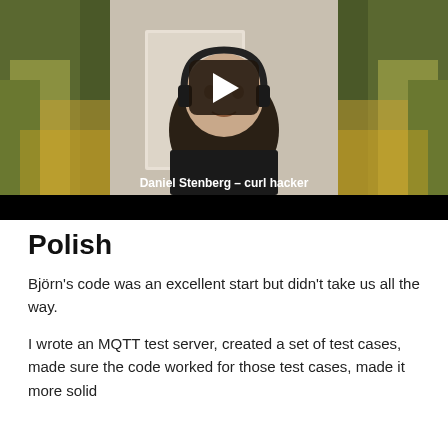[Figure (screenshot): Video thumbnail showing Daniel Stenberg, a man wearing headphones, with a play button overlay and text label 'Daniel Stenberg – curl hacker' at the bottom. The sides show a forest/trees background.]
Polish
Björn's code was an excellent start but didn't take us all the way.
I wrote an MQTT test server, created a set of test cases, made sure the code worked for those test cases, made it more solid